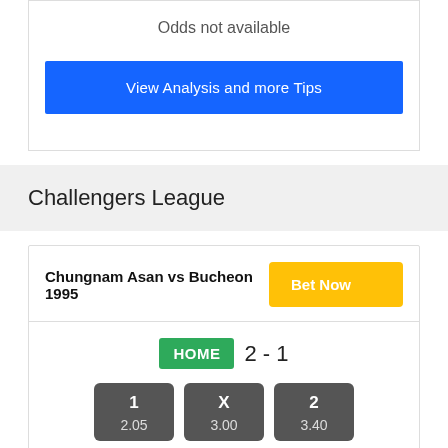Odds not available
View Analysis and more Tips
Challengers League
Chungnam Asan vs Bucheon 1995
HOME 2 - 1
| 1 | X | 2 |
| --- | --- | --- |
| 2.05 | 3.00 | 3.40 |